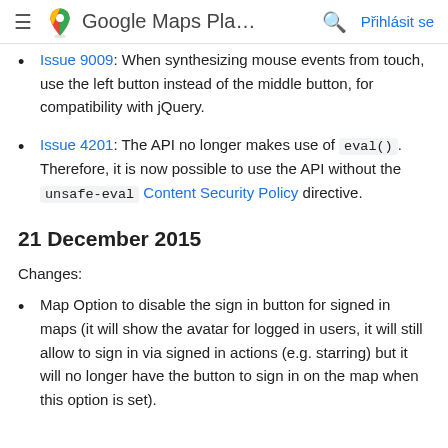Google Maps Pla...
Issue 9009: When synthesizing mouse events from touch, use the left button instead of the middle button, for compatibility with jQuery.
Issue 4201: The API no longer makes use of eval(). Therefore, it is now possible to use the API without the unsafe-eval Content Security Policy directive.
21 December 2015
Changes:
Map Option to disable the sign in button for signed in maps (it will show the avatar for logged in users, it will still allow to sign in via signed in actions (e.g. starring) but it will no longer have the button to sign in on the map when this option is set).